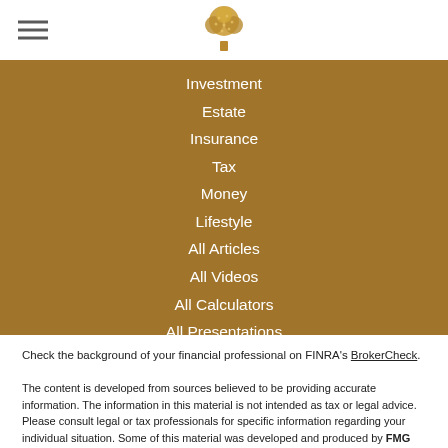[Figure (logo): Tree logo icon in gold/brown tones centered in header]
Investment
Estate
Insurance
Tax
Money
Lifestyle
All Articles
All Videos
All Calculators
All Presentations
Check the background of your financial professional on FINRA's BrokerCheck.
The content is developed from sources believed to be providing accurate information. The information in this material is not intended as tax or legal advice. Please consult legal or tax professionals for specific information regarding your individual situation. Some of this material was developed and produced by FMG Suite to provide information on a topic that may be of interest. FMG Suite is not affiliated with the named representative, broker - dealer, state - or SEC - registered investment advisory firm. The opinions expressed and material provided are for general information, and should not be considered a solicitation for the purchase or